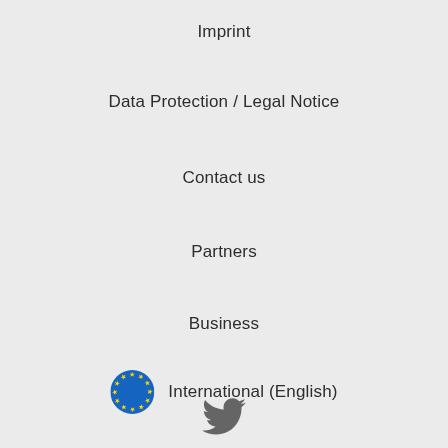Imprint
Data Protection / Legal Notice
Contact us
Partners
Business
[Figure (illustration): EU flag circle icon with blue background and yellow stars, followed by text 'International (English)']
[Figure (logo): Twitter bird logo icon in dark gray]